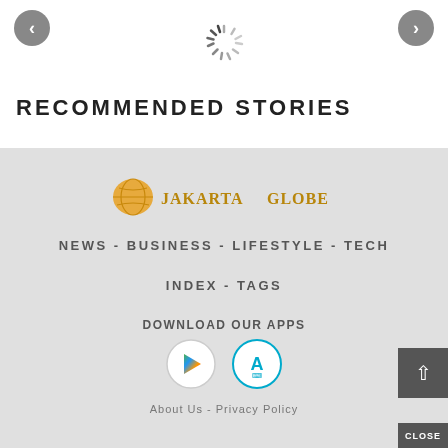[Figure (screenshot): Left navigation arrow button (grey circle with left chevron)]
[Figure (screenshot): Loading spinner (grey radial lines)]
[Figure (screenshot): Right navigation arrow button (grey circle with right chevron)]
RECOMMENDED STORIES
[Figure (logo): Jakarta Globe logo with orange globe icon and stylized text in gold/brown]
NEWS - BUSINESS - LIFESTYLE - TECH
INDEX - TAGS
DOWNLOAD OUR APPS
[Figure (screenshot): Google Play Store icon (circle with play triangle) and Apple App Store icon (circle with compass/app symbol)]
About Us - Privacy Policy